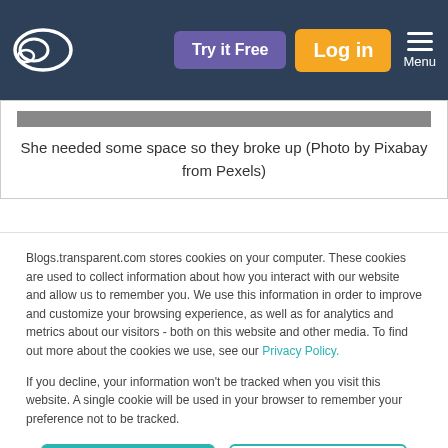[Figure (logo): Transparent.com logo (white ellipse/chat icon) in dark navy navigation bar]
She needed some space so they broke up (Photo by Pixabay from Pexels)
Blogs.transparent.com stores cookies on your computer. These cookies are used to collect information about how you interact with our website and allow us to remember you. We use this information in order to improve and customize your browsing experience, as well as for analytics and metrics about our visitors - both on this website and other media. To find out more about the cookies we use, see our Privacy Policy.
If you decline, your information won't be tracked when you visit this website. A single cookie will be used in your browser to remember your preference not to be tracked.